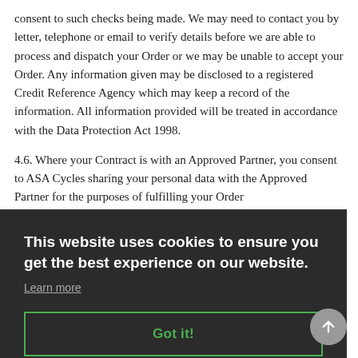consent to such checks being made. We may need to contact you by letter, telephone or email to verify details before we are able to process and dispatch your Order or we may be unable to accept your Order. Any information given may be disclosed to a registered Credit Reference Agency which may keep a record of the information. All information provided will be treated in accordance with the Data Protection Act 1998.
4.6. Where your Contract is with an Approved Partner, you consent to ASA Cycles sharing your personal data with the Approved Partner for the purposes of fulfilling your Order
...the
...Kingdom. ...tions, ...BFPO ...rther
This website uses cookies to ensure you get the best experience on our website.
Learn more
Got it!